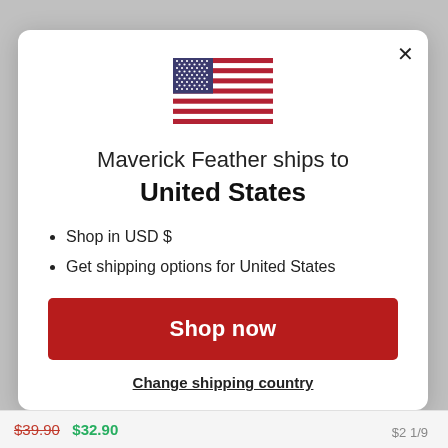[Figure (illustration): US flag SVG illustration centered in modal]
Maverick Feather ships to
United States
Shop in USD $
Get shipping options for United States
Shop now
Change shipping country
$39.90  $32.90